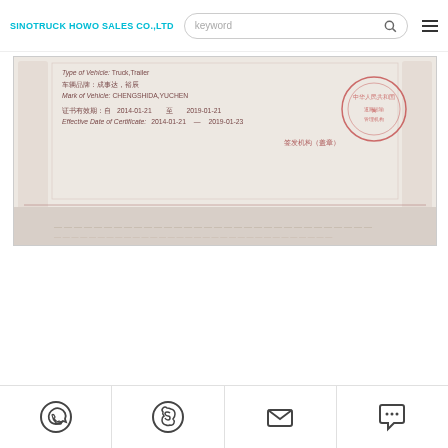SINOTRUCK HOWO SALES CO.,LTD — [search bar: keyword] — [menu icon]
[Figure (photo): Scanned vehicle certificate document showing: Type of Vehicle: Truck,Trailer; 车辆品牌: 成事达,裕辰; Mark of Vehicle: CHENGSHIDA,YUCHEN; 证书有效期: 自 2014-01-21 至 2019-01-21; Effective Date of Certificate: 2014-01-21 — 2019-01-21; 签发机构（盖章）with a red circular official stamp. Decorative border with scroll pattern at bottom.]
[WhatsApp icon] [Skype icon] [Email icon] [Chat icon]